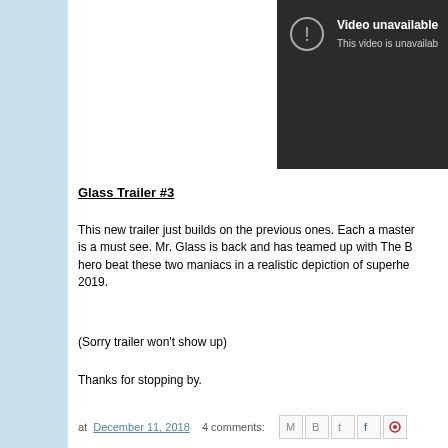[Figure (screenshot): Video unavailable screenshot from YouTube embedded player showing dark background with exclamation icon and text 'Video unavailable / This video is unavailab...']
Glass Trailer #3
This new trailer just builds on the previous ones. Each a master... is a must see. Mr. Glass is back and has teamed up with The B... hero beat these two maniacs in a realistic depiction of superhe... 2019.
(Sorry trailer won't show up)
Thanks for stopping by.
at December 11, 2018  4 comments: